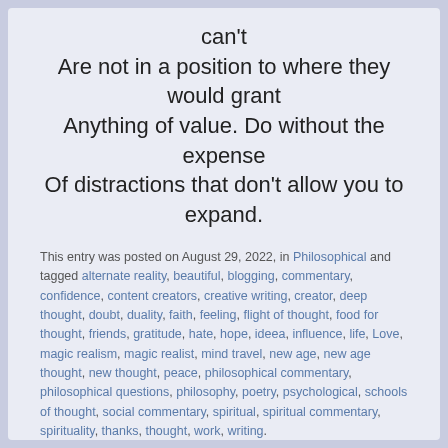can't
Are not in a position to where they would grant
Anything of value. Do without the expense
Of distractions that don't allow you to expand.
This entry was posted on August 29, 2022, in Philosophical and tagged alternate reality, beautiful, blogging, commentary, confidence, content creators, creative writing, creator, deep thought, doubt, duality, faith, feeling, flight of thought, food for thought, friends, gratitude, hate, hope, ideea, influence, life, Love, magic realism, magic realist, mind travel, new age, new age thought, new thought, peace, philosophical commentary, philosophical questions, philosophy, poetry, psychological, schools of thought, social commentary, spiritual, spiritual commentary, spirituality, thanks, thought, work, writing.
Leave a comment
[Figure (illustration): Decorative tilde/wave ornament divider]